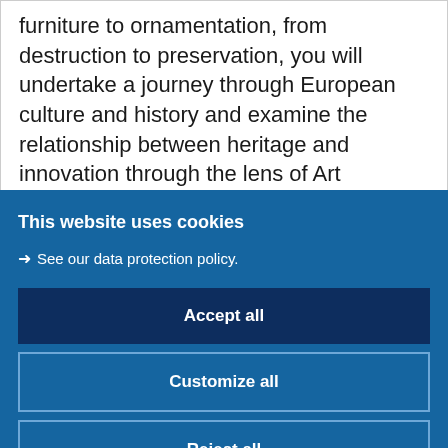furniture to ornamentation, from destruction to preservation, you will undertake a journey through European culture and history and examine the relationship between heritage and innovation through the lens of Art Nouveau.

The program will shed lights on how Art
This website uses cookies
→ See our data protection policy.
Accept all
Customize all
Reject all